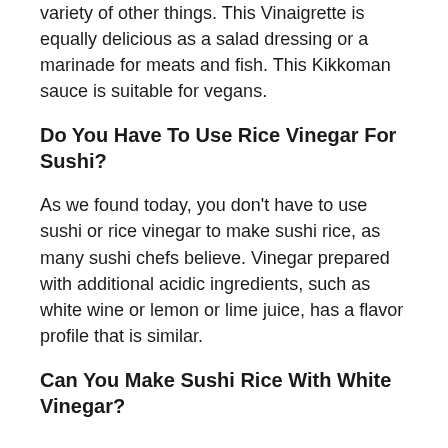variety of other things. This Vinaigrette is equally delicious as a salad dressing or a marinade for meats and fish. This Kikkoman sauce is suitable for vegans.
Do You Have To Use Rice Vinegar For Sushi?
As we found today, you don't have to use sushi or rice vinegar to make sushi rice, as many sushi chefs believe. Vinegar prepared with additional acidic ingredients, such as white wine or lemon or lime juice, has a flavor profile that is similar.
Can You Make Sushi Rice With White Vinegar?